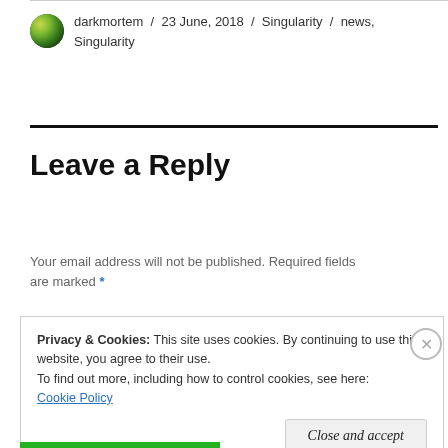darkmortem / 23 June, 2018 / Singularity / news, Singularity
Leave a Reply
Your email address will not be published. Required fields are marked *
Privacy & Cookies: This site uses cookies. By continuing to use this website, you agree to their use.
To find out more, including how to control cookies, see here:
Cookie Policy
Close and accept